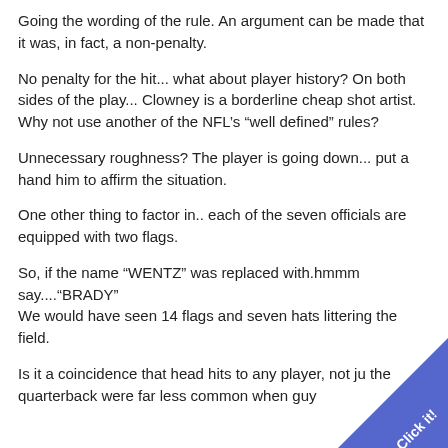Going the wording of the rule. An argument can be made that it was, in fact, a non-penalty.
No penalty for the hit... what about player history? On both sides of the play... Clowney is a borderline cheap shot artist. Why not use another of the NFL’s “well defined” rules?
Unnecessary roughness? The player is going down... put a hand him to affirm the situation.
One other thing to factor in.. each of the seven officials are equipped with two flags.
So, if the name “WENTZ” was replaced with.hmmm say....“BRADY”
We would have seen 14 flags and seven hats littering the field.
Is it a coincidence that head hits to any player, not just the quarterback were far less common when guy
[Figure (other): Blue diagonal corner badge with white text 'Click it!']